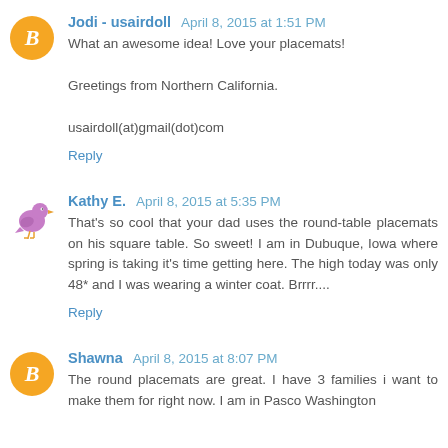Jodi - usairdoll  April 8, 2015 at 1:51 PM
What an awesome idea! Love your placemats!

Greetings from Northern California.

usairdoll(at)gmail(dot)com
Reply
Kathy E.  April 8, 2015 at 5:35 PM
That's so cool that your dad uses the round-table placemats on his square table. So sweet! I am in Dubuque, Iowa where spring is taking it's time getting here. The high today was only 48* and I was wearing a winter coat. Brrrr....
Reply
Shawna  April 8, 2015 at 8:07 PM
The round placemats are great. I have 3 families i want to make them for right now. I am in Pasco Washington